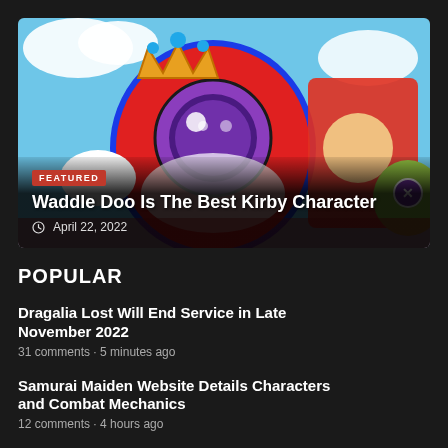[Figure (illustration): Featured article image showing Kirby characters including Waddle Doo with large eye, Knuckle Joe, and other colorful Kirby game characters against a colorful background with blue outline shapes.]
FEATURED
Waddle Doo Is The Best Kirby Character
April 22, 2022
POPULAR
[Figure (logo): Gaming site logo: gold/yellow circle with a game controller icon and sparkles, purple X button visible]
Dragalia Lost Will End Service in Late November 2022
31 comments · 5 minutes ago
Samurai Maiden Website Details Characters and Combat Mechanics
12 comments · 4 hours ago